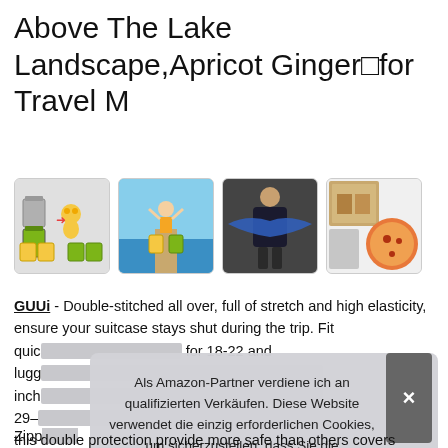Above The Lake Landscape,Apricot Ginger■for Travel M
[Figure (photo): Four product images: luggage cover with animals, person on dock with luggage, man with scarf spread, small inset photos]
GUUi - Double-stitched all over, full of stretch and high elasticity, ensure your suitcase stays shut during the trip. Fit quic... lugg... inch... 29-...
Zipp... this double protection provide more safe than others covers
Als Amazon-Partner verdiene ich an qualifizierten Verkäufen. Diese Website verwendet die einzig erforderlichen Cookies, um sicherzustellen, dass Sie die bestmögliche Erfahrung auf unserer Website erzielen. Mehr Informationen